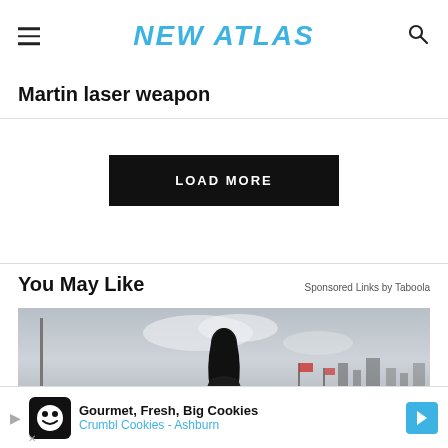NEW ATLAS
Martin laser weapon
LOAD MORE
You May Like
Sponsored Links by Taboola
[Figure (photo): Black and white photo of a young woman sitting on a car with city skyline and flags in the background]
Gourmet, Fresh, Big Cookies - Crumbl Cookies - Ashburn